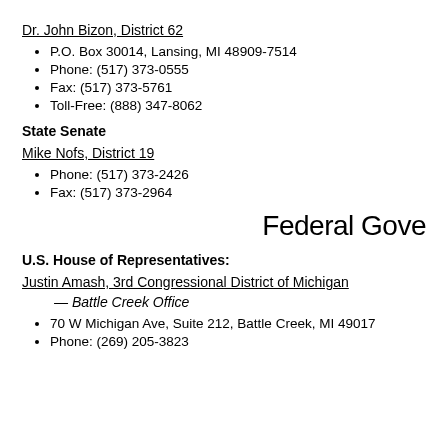Dr. John Bizon, District 62
P.O. Box 30014, Lansing, MI 48909-7514
Phone: (517) 373-0555
Fax: (517) 373-5761
Toll-Free: (888) 347-8062
State Senate
Mike Nofs, District 19
Phone: (517) 373-2426
Fax: (517) 373-2964
Federal Gove
U.S. House of Representatives:
Justin Amash, 3rd Congressional District of Michigan
— Battle Creek Office
70 W Michigan Ave, Suite 212, Battle Creek, MI 49017
Phone: (269) 205-3823